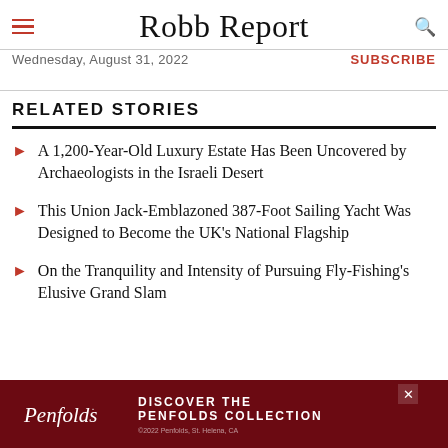Robb Report — Wednesday, August 31, 2022 — SUBSCRIBE
RELATED STORIES
A 1,200-Year-Old Luxury Estate Has Been Uncovered by Archaeologists in the Israeli Desert
This Union Jack-Emblazoned 387-Foot Sailing Yacht Was Designed to Become the UK's National Flagship
On the Tranquility and Intensity of Pursuing Fly-Fishing's Elusive Grand Slam
READ MORE ON: SANTA BARBARA | UNITED STATES - CALIFORNIA
[Figure (infographic): Penfolds advertisement banner: dark red/maroon background with Penfolds cursive logo and text DISCOVER THE PENFOLDS COLLECTION]